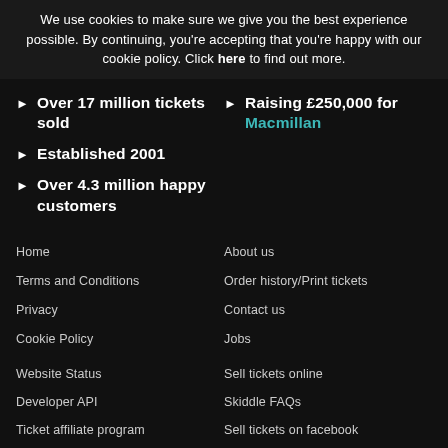We use cookies to make sure we give you the best experience possible. By continuing, you're accepting that you're happy with our cookie policy. Click here to find out more.
Over 17 million tickets sold
Raising £250,000 for Macmillan
Established 2001
Over 4.3 million happy customers
Home
About us
Terms and Conditions
Order history/Print tickets
Privacy
Contact us
Cookie Policy
Jobs
Website Status
Sell tickets online
Developer API
Skiddle FAQs
Ticket affiliate program
Sell tickets on facebook
Become a Skiddle ticket rep
Sell festival tickets